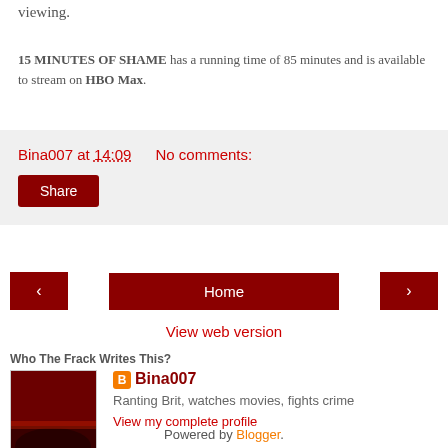viewing.
15 MINUTES OF SHAME has a running time of 85 minutes and is available to stream on HBO Max.
Bina007 at 14:09    No comments:
Share
‹   Home   ›
View web version
Who The Frack Writes This?
[Figure (photo): Profile image for Bina007 Movie Reviews blog, showing text on dark red background with cinema audience image]
Bina007
Ranting Brit, watches movies, fights crime
View my complete profile
Powered by Blogger.